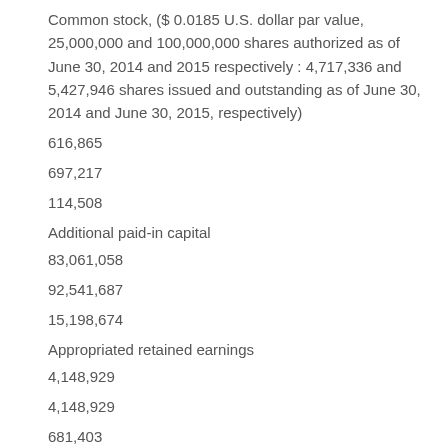Common stock, ($ 0.0185 U.S. dollar par value, 25,000,000 and 100,000,000 shares authorized as of June 30, 2014 and 2015 respectively : 4,717,336 and 5,427,946 shares issued and outstanding as of June 30, 2014 and June 30, 2015, respectively)
616,865
697,217
114,508
Additional paid-in capital
83,061,058
92,541,687
15,198,674
Appropriated retained earnings
4,148,929
4,148,929
681,403
Unappropriated retained earnings
8,431,453